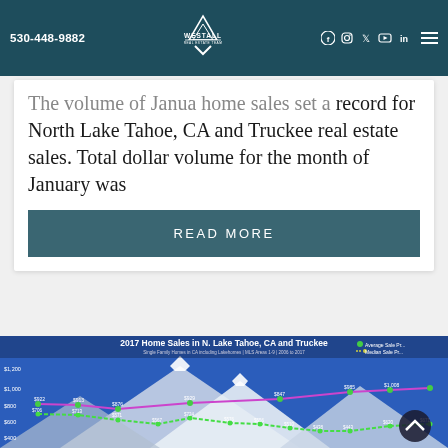530-448-9882 | Westall Real Estate Team | Social Icons
The volume of January home sales set a record for North Lake Tahoe, CA and Truckee real estate sales. Total dollar volume for the month of January was
READ MORE
[Figure (line-chart): Line chart showing Average Sale Price and Median Sale Price for single family homes in CA including lakehomes, MLS Areas 1-9, 2006 to 2017. Values shown include $922, $913, $876, $929, $985, $1,008 for average and $706, $713, $571, $567, $724, $576, $556, $510, $438, $443, $620, $671 for median.]